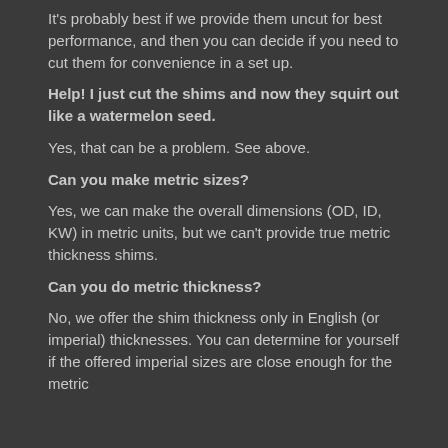It's probably best if we provide them uncut for best performance, and then you can decide if you need to cut them for convenience in a set up.
Help! I just cut the shims and now they squirt out like a watermelon seed.
Yes, that can be a problem. See above.
Can you make metric sizes?
Yes, we can make the overall dimensions (OD, ID, KW) in metric units, but we can't provide true metric thickness shims.
Can you do metric thickness?
No, we offer the shim thickness only in English (or imperial) thicknesses. You can determine for yourself if the offered imperial sizes are close enough for the metric